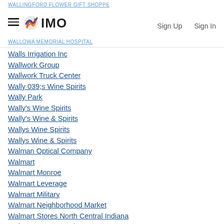WALLINGFORD FLOWER GIFT SHOPPE | WALLOWA MEMORIAL HOSPITAL
Walls Irrigation Inc
Wallwork Group
Wallwork Truck Center
Wally 039;s Wine Spirits
Wally Park
Wally's Wine Spirits
Wally's Wine & Spirits
Wallys Wine Spirits
Wallys Wine & Spirits
Walman Optical Company
Walmart
Walmart Monroe
Walmart Leverage
Walmart Military
Walmart Neighborhood Market
Walmart Stores North Central Indiana
Walmart Transportation
Walnut Capital Management
Walnut Creek Heating and Air Conditioning
Walnut Creek Honda